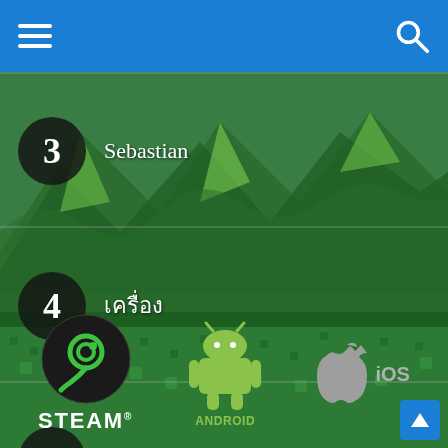Navigation menu header with hamburger menu and search icon
3  Sebastian
4  (non-Latin text)
5  Crops
[Figure (logo): Steam logo (black circle with Steam swirl symbol) and STEAM wordmark with registered trademark]
[Figure (logo): Android robot logo (green) with ANDROID wordmark below]
[Figure (logo): Apple logo (gray) with iOS text]
[Figure (illustration): Pixel-art green mountain landscape background covering the content area]